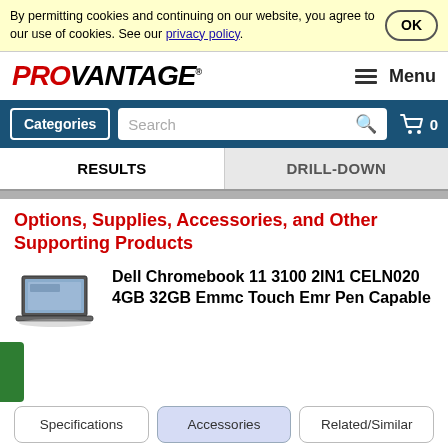By permitting cookies and continuing on our website, you agree to our use of cookies. See our privacy policy. OK
[Figure (logo): PROVANTAGE logo in red and black italic bold text]
Menu
Categories  Search  0
RESULTS
DRILL-DOWN
Options, Supplies, Accessories, and Other Supporting Products
[Figure (photo): Dell Chromebook 11 laptop product image]
Dell Chromebook 11 3100 2IN1 CELN020 4GB 32GB Emmc Touch Emr Pen Capable
Specifications  Accessories  Related/Similar
Search among 29 products